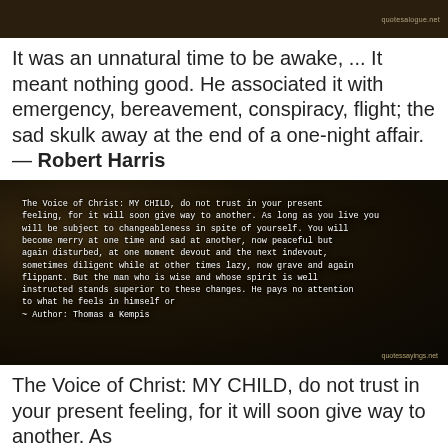[Figure (photo): Dark brown/black header image bar with watermark text 'quotesalogue.net' in the upper right]
It was an unnatural time to be awake, ... It meant nothing good. He associated it with emergency, bereavement, conspiracy, flight; the sad skulk away at the end of a one-night affair. — Robert Harris
[Figure (photo): Dark night sky background image with white text overlay containing a quote: 'The Voice of Christ: MY CHILD, do not trust in your present feeling, for it will soon give way to another. As long as you live you will be subject to changeableness in spite of yourself. You will become merry at one time and sad at another, now peaceful but again disturbed, at one moment devout and the next indevout, sometimes diligent while at other times lazy, now grave and again flippant. But the man who is wise and whose spirit is well instructed stands superior to these changes. He pays no attention to what he feels in himself or ~ Author: Thomas a Kempis' with watermark 'quotessayings.net']
The Voice of Christ: MY CHILD, do not trust in your present feeling, for it will soon give way to another. As